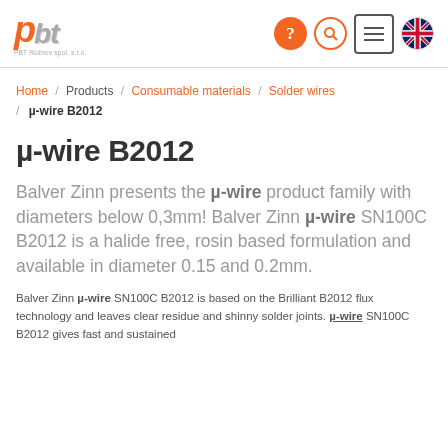PBT Rožnov spol. s.r.o. — header with logo and navigation icons
Home / Products / Consumable materials / Solder wires / µ-wire B2012
µ-wire B2012
Balver Zinn presents the µ-wire product family with diameters below 0,3mm! Balver Zinn µ-wire SN100C B2012 is a halide free, rosin based formulation and available in diameter 0.15 and 0.2mm.
Balver Zinn µ-wire SN100C B2012 is based on the Brilliant B2012 flux technology and leaves clear residue and shinny solder joints. µ-wire SN100C B2012 gives fast and sustained